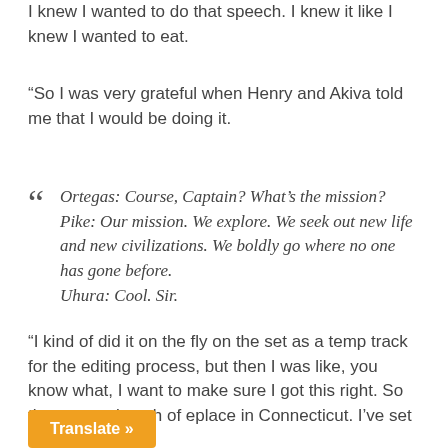I knew I wanted to do that speech. I knew it like I knew I wanted to eat.
“So I was very grateful when Henry and Akiva told me that I would be doing it.
Ortegas: Course, Captain? What’s the mission? Pike: Our mission. We explore. We seek out new life and new civilizations. We boldly go where no one has gone before. Uhura: Cool. Sir.
“I kind of did it on the fly on the set as a temp track for the editing process, but then I was like, you know what, I want to make sure I got this right. So they sent a bunch of e[quipment] place in Connecticut. I’ve set up a sound [booth]
Translate »